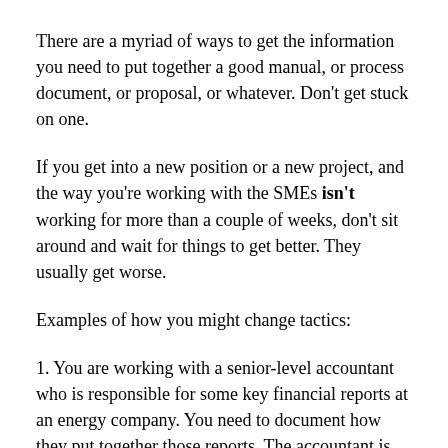There are a myriad of ways to get the information you need to put together a good manual, or process document, or proposal, or whatever. Don't get stuck on one.
If you get into a new position or a new project, and the way you're working with the SMEs isn't working for more than a couple of weeks, don't sit around and wait for things to get better. They usually get worse.
Examples of how you might change tactics:
1. You are working with a senior-level accountant who is responsible for some key financial reports at an energy company. You need to document how they put together those reports. The accountant is supposed to write up a rough draft of the procedure